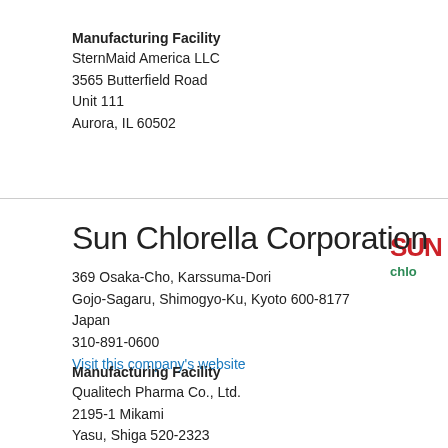Manufacturing Facility
SternMaid America LLC
3565 Butterfield Road
Unit 111
Aurora, IL 60502
Sun Chlorella Corporation
[Figure (logo): Sun Chlorella logo — red and green stylized text on white background, partially cropped]
369 Osaka-Cho, Karssuma-Dori
Gojo-Sagaru, Shimogyo-Ku, Kyoto 600-8177
Japan
310-891-0600
Visit this company's website
Manufacturing Facility
Qualitech Pharma Co., Ltd.
2195-1 Mikami
Yasu, Shiga 520-2323
Japan